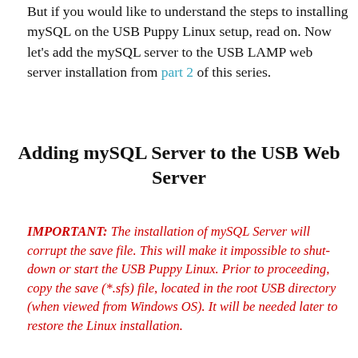But if you would like to understand the steps to installing mySQL on the USB Puppy Linux setup, read on. Now let's add the mySQL server to the USB LAMP web server installation from part 2 of this series.
Adding mySQL Server to the USB Web Server
IMPORTANT: The installation of mySQL Server will corrupt the save file. This will make it impossible to shut-down or start the USB Puppy Linux. Prior to proceeding, copy the save (*.sfs) file, located in the root USB directory (when viewed from Windows OS). It will be needed later to restore the Linux installation.
Start the USB installed Precision Puppy Linux from part 2. Then launch the Puppy Package Manager. In the search window (Find), enter “mysql”.
[Figure (screenshot): Screenshot of Puppy Package Manager showing repository selection bar with ubuntu-precise-main selected, a sidebar with Desktop, System, Setup, Utility options, and a package list showing mysql-client-core-5.5 5.5.47, mysql-server 5.5.47 (selected/highlighted), and mysql-server-5.5 5.5.47 entries with Description column visible.]